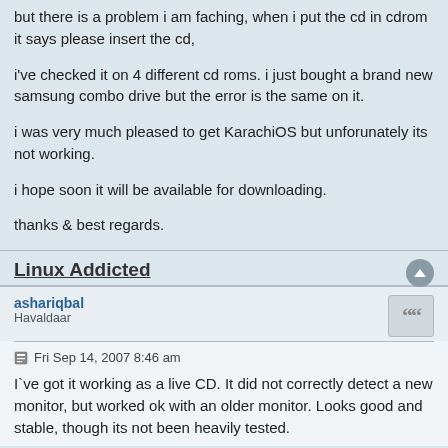but there is a problem i am faching, when i put the cd in cdrom it says please insert the cd,
i've checked it on 4 different cd roms. i just bought a brand new samsung combo drive but the error is the same on it.
i was very much pleased to get KarachiOS but unforunately its not working.
i hope soon it will be available for downloading.
thanks & best regards.
Linux Addicted
ashariqbal
Havaldaar
Fri Sep 14, 2007 8:46 am
I`ve got it working as a live CD. It did not correctly detect a new monitor, but worked ok with an older monitor. Looks good and stable, though its not been heavily tested.